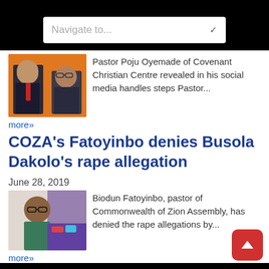Navigate to...
[Figure (photo): Thumbnail photo of Pastor Poju Oyemade and another pastor on an orange background]
Pastor Poju Oyemade of Covenant Christian Centre revealed in his social media handles steps Pastor...
more»
COZA's Fatoyinbo denies Busola Dakolo's rape allegation
June 28, 2019
[Figure (photo): Thumbnail photo of Biodun Fatoyinbo]
Biodun Fatoyinbo, pastor of Commonwealth of Zion Assembly, has denied the rape allegations by...
more»